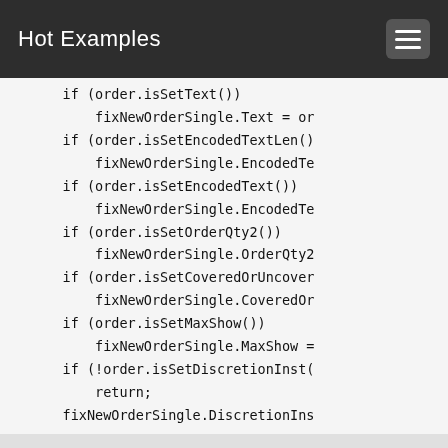Hot Examples
[Figure (screenshot): Code snippet showing C# conditional assignments for FIX protocol order fields including isSetText, isSetEncodedTextLen, isSetEncodedText, isSetOrderQty2, isSetCoveredOrUncover, isSetMaxShow, and isSetDiscretionInst checks with fixNewOrderSingle property assignments]